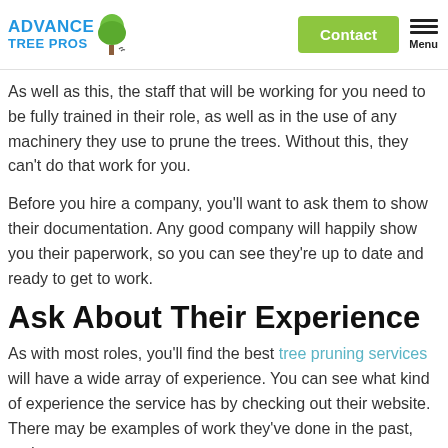Advance Tree Pros – Contact – Menu
As well as this, the staff that will be working for you need to be fully trained in their role, as well as in the use of any machinery they use to prune the trees. Without this, they can't do that work for you.
Before you hire a company, you'll want to ask them to show their documentation. Any good company will happily show you their paperwork, so you can see they're up to date and ready to get to work.
Ask About Their Experience
As with most roles, you'll find the best tree pruning services will have a wide array of experience. You can see what kind of experience the service has by checking out their website. There may be examples of work they've done in the past, and